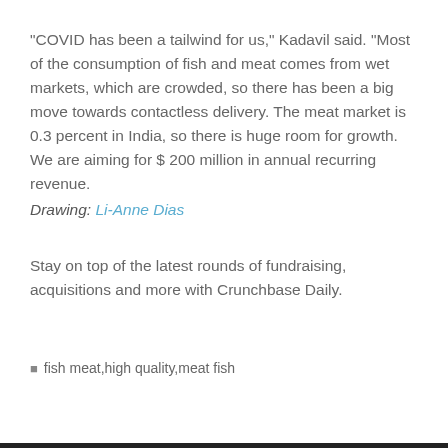“COVID has been a tailwind for us,” Kadavil said. “Most of the consumption of fish and meat comes from wet markets, which are crowded, so there has been a big move towards contactless delivery. The meat market is 0.3 percent in India, so there is huge room for growth. We are aiming for $ 200 million in annual recurring revenue.
Drawing: Li-Anne Dias
Stay on top of the latest rounds of fundraising, acquisitions and more with Crunchbase Daily.
fish meat,high quality,meat fish